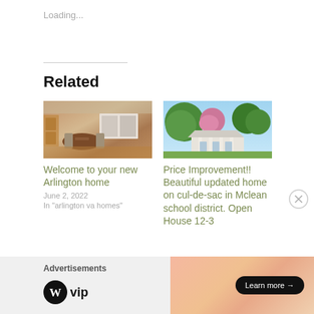Loading...
Related
[Figure (photo): Interior photo of a home dining area with wooden table, chairs, and kitchen visible in the background with warm lighting]
Welcome to your new Arlington home
June 2, 2022
In "arlington va homes"
[Figure (photo): Exterior photo of a home with lush green trees, blooming pink/purple ornamental tree, white columns visible through trees]
Price Improvement!! Beautiful updated home on cul-de-sac in Mclean school district. Open House 12-3
Advertisements
[Figure (logo): WordPress VIP logo — W circle icon followed by VIP text]
[Figure (screenshot): Orange/peach gradient advertisement banner with Learn more button]